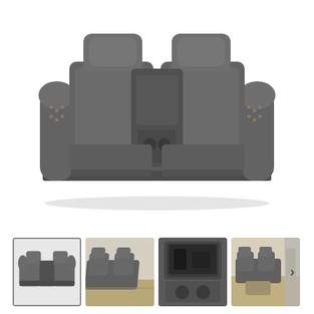[Figure (photo): Main product image of a dark gray leather/upholstered reclining loveseat with center console, nailhead trim on rolled arms, viewed from front]
[Figure (photo): Thumbnail 1 (selected/active): Front view of the gray reclining loveseat with center console - same as main image]
[Figure (photo): Thumbnail 2: Angled side view of the gray reclining loveseat in a room setting on hardwood floor]
[Figure (photo): Thumbnail 3: Close-up of the center console storage compartment open, showing interior with cup holders]
[Figure (photo): Thumbnail 4: Wide room setting photo showing the reclining loveseat set in a living room environment]